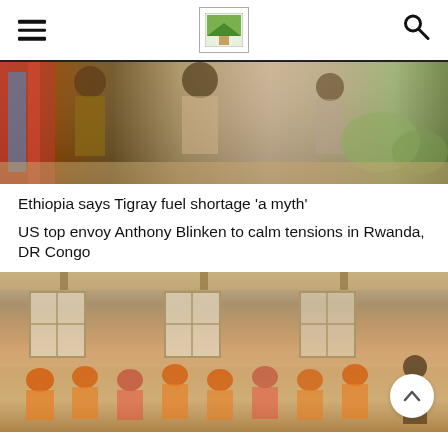[Figure (logo): Website logo icon in a bordered box, center top]
Navigation bar with hamburger menu on left and search icon on right
[Figure (photo): Photo of people carrying goods, colorful clothing, market scene in Africa]
Ethiopia says Tigray fuel shortage ‘a myth’
US top envoy Anthony Blinken to calm tensions in Rwanda, DR Congo
[Figure (photo): Photo of children in orange uniforms sitting in a classroom with windows]